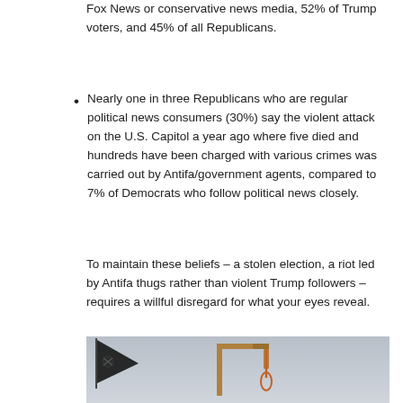Fox News or conservative news media, 52% of Trump voters, and 45% of all Republicans.
Nearly one in three Republicans who are regular political news consumers (30%) say the violent attack on the U.S. Capitol a year ago where five died and hundreds have been charged with various crimes was carried out by Antifa/government agents, compared to 7% of Democrats who follow political news closely.
To maintain these beliefs – a stolen election, a riot led by Antifa thugs rather than violent Trump followers – requires a willful disregard for what your eyes reveal.
[Figure (photo): A photograph showing a gallows-like wooden frame structure against a grey overcast sky, with a flag bearing a skull and crossbones visible on the left side.]